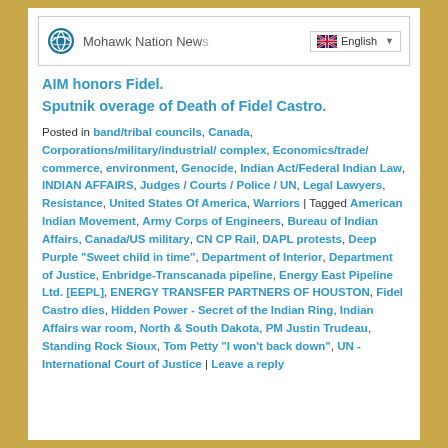[Figure (screenshot): WordPress site header with logo, site title 'Mohawk Nation New...' and English language selector]
AIM honors Fidel.
Sputnik overage of Death of Fidel Castro.
Posted in band/tribal councils, Canada, Corporations/military/industrial/ complex, Economics/trade/ commerce, environment, Genocide, Indian Act/Federal Indian Law, INDIAN AFFAIRS, Judges / Courts / Police / UN, Legal Lawyers, Resistance, United States Of America, Warriors | Tagged American Indian Movement, Army Corps of Engineers, Bureau of Indian Affairs, Canada/US military, CN CP Rail, DAPL protests, Deep Purple "Sweet child in time", Department of Interior, Department of Justice, Enbridge-Transcanada pipeline, Energy East Pipeline Ltd. [EEPL], ENERGY TRANSFER PARTNERS OF HOUSTON, Fidel Castro dies, Hidden Power - Secret of the Indian Ring, Indian Affairs war room, North & South Dakota, PM Justin Trudeau, Standing Rock Sioux, Tom Petty "I won't back down", UN - International Court of Justice | Leave a reply